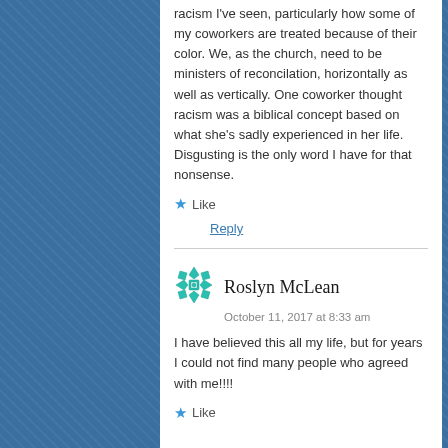racism I've seen, particularly how some of my coworkers are treated because of their color. We, as the church, need to be ministers of reconcilation, horizontally as well as vertically. One coworker thought racism was a biblical concept based on what she's sadly experienced in her life. Disgusting is the only word I have for that nonsense.
★ Like
Reply
Roslyn McLean
October 11, 2017 at 8:33 am
I have believed this all my life, but for years I could not find many people who agreed with me!!!!
★ Like